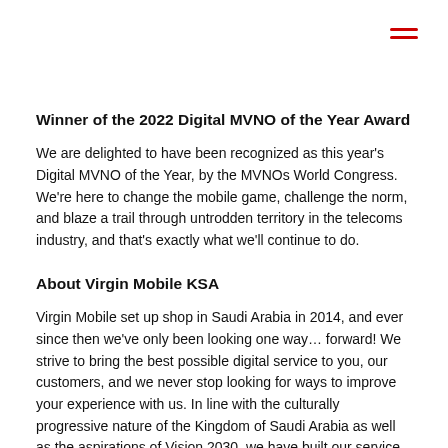[Figure (other): Hamburger menu icon (three horizontal red lines) in top right corner]
Winner of the 2022 Digital MVNO of the Year Award
We are delighted to have been recognized as this year's Digital MVNO of the Year, by the MVNOs World Congress. We're here to change the mobile game, challenge the norm, and blaze a trail through untrodden territory in the telecoms industry, and that's exactly what we'll continue to do.
About Virgin Mobile KSA
Virgin Mobile set up shop in Saudi Arabia in 2014, and ever since then we've only been looking one way… forward! We strive to bring the best possible digital service to you, our customers, and we never stop looking for ways to improve your experience with us. In line with the culturally progressive nature of the Kingdom of Saudi Arabia as well as the aspirations of Vision 2030, we have built our service